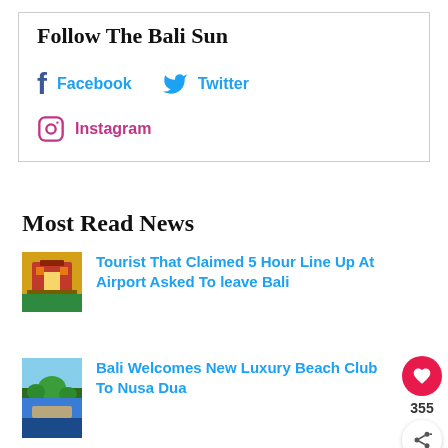Follow The Bali Sun
Facebook
Twitter
Instagram
Most Read News
Tourist That Claimed 5 Hour Line Up At Airport Asked To leave Bali
Bali Welcomes New Luxury Beach Club To Nusa Dua